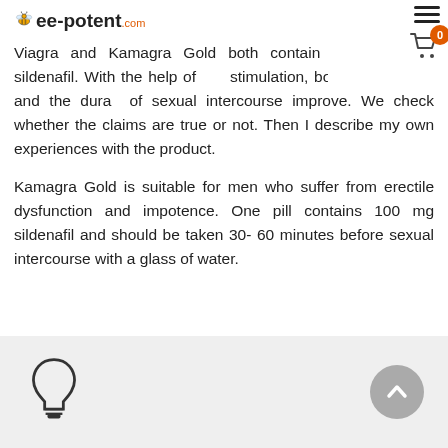bee-potent.com
Viagra and Kamagra Gold both contain the ingredient sildenafil. With the help of stimulation, both the intensity and the duration of sexual intercourse improve. We check whether the claims are true or not. Then I describe my own experiences with the product.
Kamagra Gold is suitable for men who suffer from erectile dysfunction and impotence. One pill contains 100 mg sildenafil and should be taken 30-60 minutes before sexual intercourse with a glass of water.
[Figure (illustration): Light gray info box with a lightbulb icon on the left and a gray scroll-to-top circular arrow button on the right]